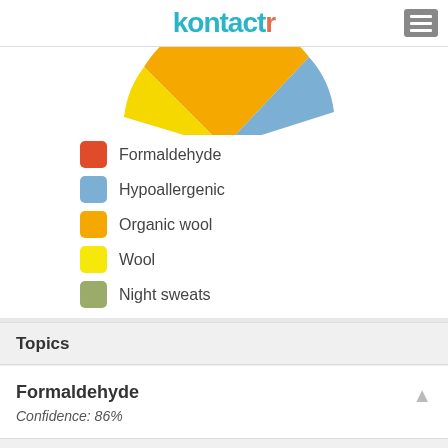kontactr
[Figure (pie-chart): Partial pie chart visible at top, legend below with colored squares]
Topics
Formaldehyde
Confidence: 86%